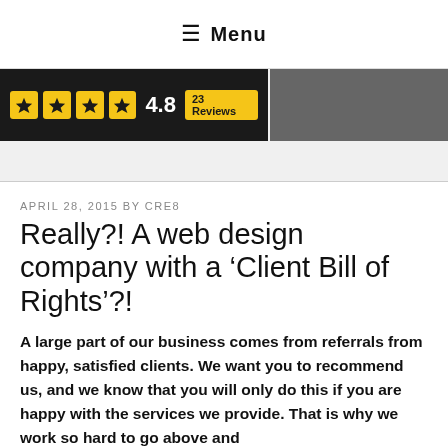≡ Menu
[Figure (screenshot): Review badge showing 4 yellow stars, rating 4.8, and 23 Reviews on dark background, alongside a dark grey bar]
APRIL 28, 2015 BY CRE8
Really?! A web design company with a ‘Client Bill of Rights’?!
A large part of our business comes from referrals from happy, satisfied clients. We want you to recommend us, and we know that you will only do this if you are happy with the services we provide. That is why we work so hard to go above and